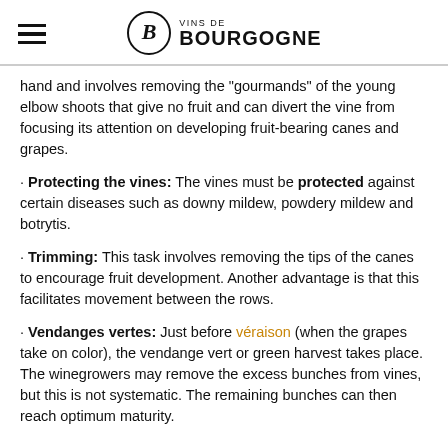VINS DE BOURGOGNE
hand and involves removing the "gourmands" of the young elbow shoots that give no fruit and can divert the vine from focusing its attention on developing fruit-bearing canes and grapes.
Protecting the vines: The vines must be protected against certain diseases such as downy mildew, powdery mildew and botrytis.
Trimming: This task involves removing the tips of the canes to encourage fruit development. Another advantage is that this facilitates movement between the rows.
Vendanges vertes: Just before véraison (when the grapes take on color), the vendange vert or green harvest takes place. The winegrowers may remove the excess bunches from vines, but this is not systematic. The remaining bunches can then reach optimum maturity.